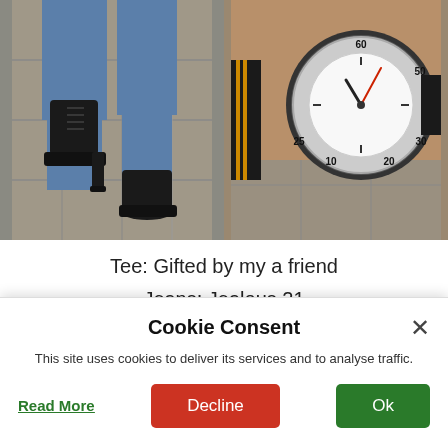[Figure (photo): Two photos side by side: left shows a person's legs wearing blue jeans and black lace-up platform heeled boots on stone pavement; right shows a person's wrist wearing a black sports watch with white dial and red hands on stone pavement background.]
Tee: Gifted by my a friend
Jeans: Jealous 21
Biker Jacket: c/o THBoxes
Laceup booties: c/o Mart of China (same as here)
Cookie Consent
This site uses cookies to deliver its services and to analyse traffic.
Read More
Decline
Ok